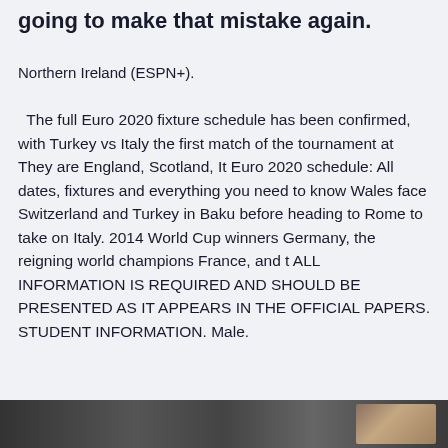going to make that mistake again.
Northern Ireland (ESPN+).
The full Euro 2020 fixture schedule has been confirmed, with Turkey vs Italy the first match of the tournament at They are England, Scotland, It Euro 2020 schedule: All dates, fixtures and everything you need to know Wales face Switzerland and Turkey in Baku before heading to Rome to take on Italy. 2014 World Cup winners Germany, the reigning world champions France, and t ALL INFORMATION IS REQUIRED AND SHOULD BE PRESENTED AS IT APPEARS IN THE OFFICIAL PAPERS. STUDENT INFORMATION. Male.
[Figure (photo): Dark horizontal image strip at the bottom of the page, showing what appears to be a news or sports article thumbnail image]